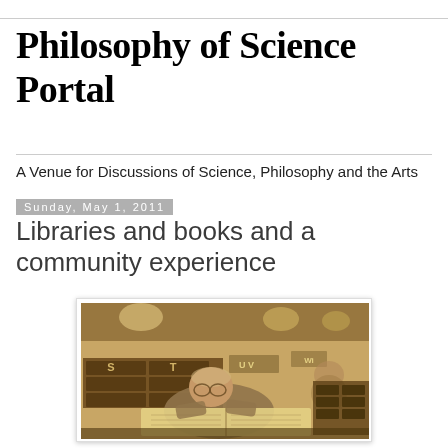Philosophy of Science Portal
A Venue for Discussions of Science, Philosophy and the Arts
Sunday, May 1, 2011
Libraries and books and a community experience
[Figure (photo): Sepia-toned vintage photograph of an elderly man with glasses leaning over a large open book or ledger at what appears to be a library catalogue or filing system. Card catalogue drawers labeled S, T, U, V, W are visible in the background along with other people working.]